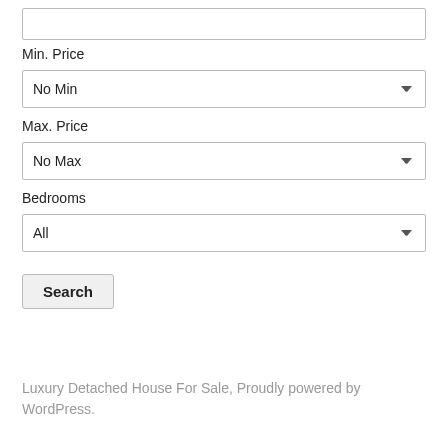Min. Price
No Min
Max. Price
No Max
Bedrooms
All
Search
Luxury Detached House For Sale, Proudly powered by WordPress.